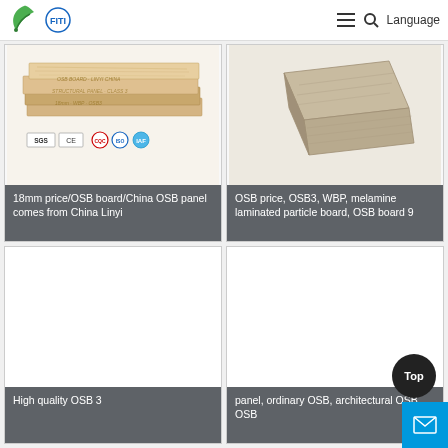Logo | Navigation menu | Search | Language
[Figure (photo): Wood veneer/OSB panels stacked with certification badges (SGS, CE, ISO, etc.)]
18mm price/OSB board/China OSB panel comes from China Linyi
[Figure (photo): OSB board corner piece showing texture and thickness]
OSB price, OSB3, WBP, melamine laminated particle board, OSB board 9
[Figure (photo): Empty white product image placeholder]
High quality OSB 3
[Figure (photo): Empty white product image placeholder]
panel, ordinary OSB, architectural OSB, OSB